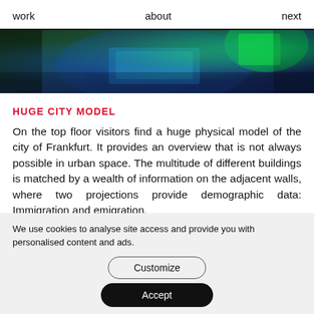work   about   next
[Figure (photo): A person working with a tablet or touchscreen device, seen from above with green and blue lighting, dark background]
HUGE CITY MODEL
On the top floor visitors find a huge physical model of the city of Frankfurt. It provides an overview that is not always possible in urban space. The multitude of different buildings is matched by a wealth of information on the adjacent walls, where two projections provide demographic data: Immigration and emigration,
We use cookies to analyse site access and provide you with personalised content and ads.
Customize
Accept